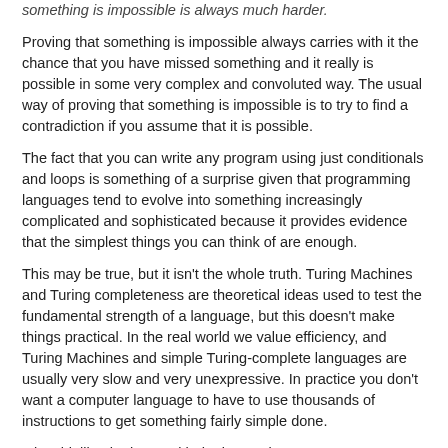something is impossible is always much harder.
Proving that something is impossible always carries with it the chance that you have missed something and it really is possible in some very complex and convoluted way. The usual way of proving that something is impossible is to try to find a contradiction if you assume that it is possible.
The fact that you can write any program using just conditionals and loops is something of a surprise given that programming languages tend to evolve into something increasingly complicated and sophisticated because it provides evidence that the simplest things you can think of are enough.
This may be true, but it isn't the whole truth. Turing Machines and Turing completeness are theoretical ideas used to test the fundamental strength of a language, but this doesn't make things practical. In the real world we value efficiency, and Turing Machines and simple Turing-complete languages are usually very slow and very unexpressive. In practice you don't want a computer language to have to use thousands of instructions to get something fairly simple done.
It is a bit like the issue with the instruction:
"Place 5 cherries on the top of the cake"
What type of instruction is it? A loop to repeat something simple five